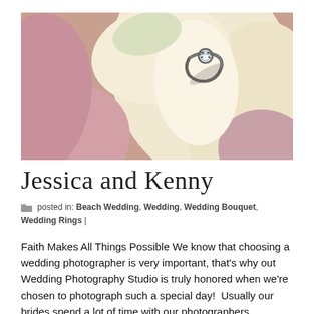[Figure (photo): Close-up photo of a diamond engagement ring resting inside cream and pink flower petals (calla lilies/roses), soft focus background with pink and cream tones]
Jessica and Kenny
posted in: Beach Wedding, Wedding, Wedding Bouquet, Wedding Rings |
Faith Makes All Things Possible We know that choosing a wedding photographer is very important, that's why out Wedding Photography Studio is truly honored when we're chosen to photograph such a special day!  Usually our brides spend a lot of time with our photographers compared to anyone else at their wedding. That's also why